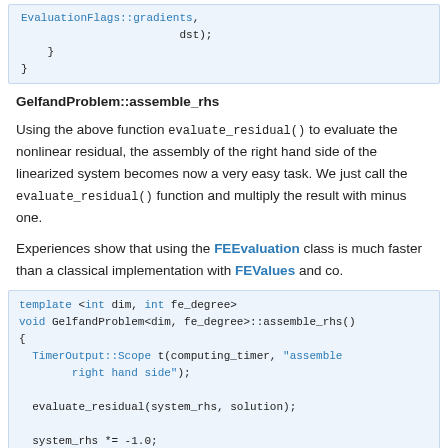[Figure (screenshot): Code snippet continuation showing EvaluationFlags::gradients and dst); with closing braces]
GelfandProblem::assemble_rhs
Using the above function evaluate_residual() to evaluate the nonlinear residual, the assembly of the right hand side of the linearized system becomes now a very easy task. We just call the evaluate_residual() function and multiply the result with minus one.
Experiences show that using the FEEvaluation class is much faster than a classical implementation with FEValues and co.
[Figure (screenshot): Code block: template <int dim, int fe_degree> void GelfandProblem<dim, fe_degree>::assemble_rhs() { TimerOutput::Scope t(computing_timer, "assemble right hand side"); evaluate_residual(system_rhs, solution); system_rhs *= -1.0; }]